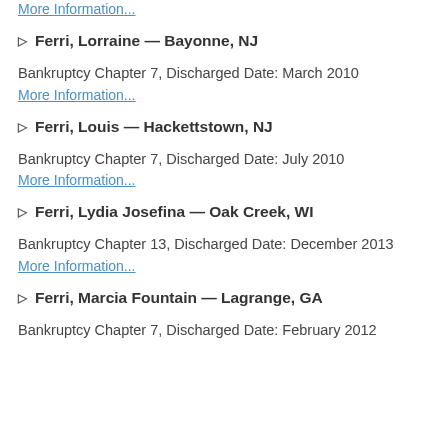More Information...
▷ Ferri, Lorraine — Bayonne, NJ
Bankruptcy Chapter 7, Discharged Date: March 2010
More Information...
▷ Ferri, Louis — Hackettstown, NJ
Bankruptcy Chapter 7, Discharged Date: July 2010
More Information...
▷ Ferri, Lydia Josefina — Oak Creek, WI
Bankruptcy Chapter 13, Discharged Date: December 2013
More Information...
▷ Ferri, Marcia Fountain — Lagrange, GA
Bankruptcy Chapter 7, Discharged Date: February 2012